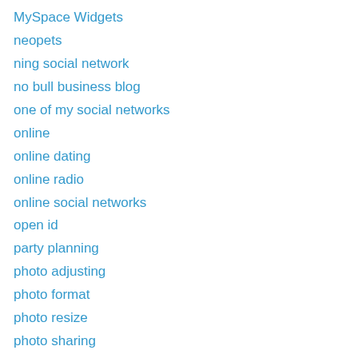MySpace Widgets
neopets
ning social network
no bull business blog
one of my social networks
online
online dating
online radio
online social networks
open id
party planning
photo adjusting
photo format
photo resize
photo sharing
photo sites
podcasting
political news
radio
radio on the net